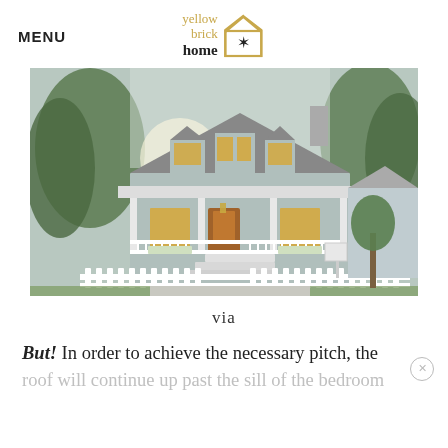MENU
[Figure (logo): Yellow Brick Home logo with house outline and star icon]
[Figure (photo): Exterior photo of a light blue/grey cottage-style house with white picket fence, covered front porch, dormer windows, and surrounded by trees at dusk]
via
But! In order to achieve the necessary pitch, the
roof will continue up past the sill of the bedroom